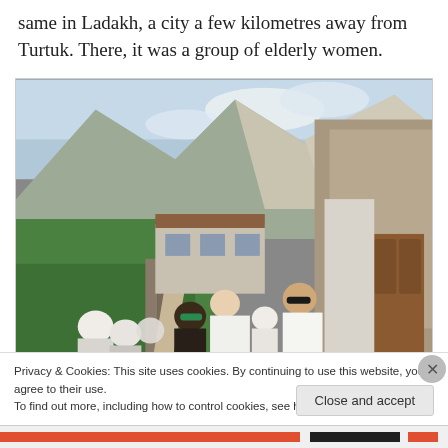same in Ladakh, a city a few kilometres away from Turtuk. There, it was a group of elderly women.
[Figure (photo): Outdoor photograph in a mountain village. A narrow path runs between stone walls and green fields. Mountains and cloudy sky in the background. A group of people including elderly women in white head coverings and two younger people with sunglasses pose for the photo. A white building with wooden windows is visible in the middle ground.]
Privacy & Cookies: This site uses cookies. By continuing to use this website, you agree to their use.
To find out more, including how to control cookies, see here: Cookie Policy